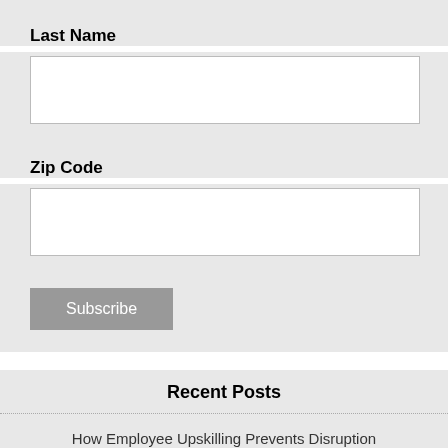Last Name
[text input field]
Zip Code
[text input field]
Subscribe
Recent Posts
How Employee Upskilling Prevents Disruption
[Figure (other): Advertisement banner: Up To $75 Off on Goodyear Tires at Virginia Tire & Auto, with Tire Auto logo and navigation arrow icon]